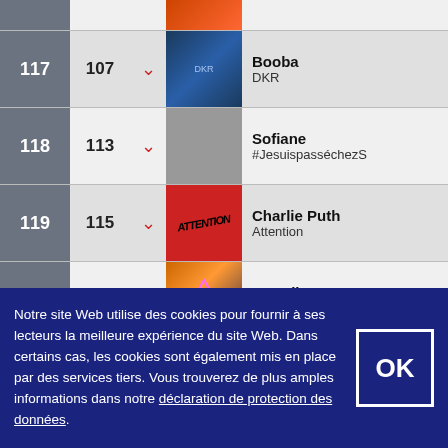| Rank | Peak | Trend | Cover | Artist | Track |
| --- | --- | --- | --- | --- | --- |
| 117 | 107 | ↓ | (image) | Booba | DKR |
| 118 | 113 | ↓ |  | Sofiane | #JesuispasséchezSo |
| 119 | 115 | ↓ | (image) | Charlie Puth | Attention |
| 120 | 126 | ↑ | (image) | Axwell Λ Ingrosso | More Than You Know |
| 121 | 118 | ↓ |  | Dadju | Lionne |
| 122 | 96 | ↓ |  | Jul | Henrico |
| 123 | 121 | ↓ | (image) | Amir [FR] | États d'amour |
| 124 | ... | ↓ | (image) | Ofenbach | Be Mine |
Notre site Web utilise des cookies pour fournir à ses lecteurs la meilleure expérience du site Web. Dans certains cas, les cookies sont également mis en place par des services tiers. Vous trouverez de plus amples informations dans notre déclaration de protection des données.